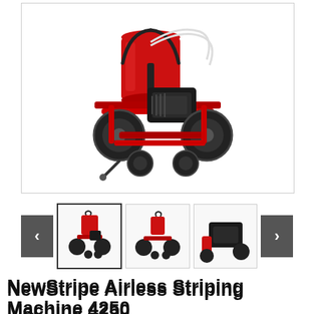[Figure (photo): Main product image of NewStripe Airless Striping Machine 4250 — a red wheeled paint striping machine with a red bucket/tank, engine, and multiple wheels, shown on white background.]
[Figure (photo): Thumbnail 1 (selected): Front/side view of the striping machine, smaller scale, selected state with dark border.]
[Figure (photo): Thumbnail 2: Side profile view of the striping machine.]
[Figure (photo): Thumbnail 3: Close-up of the engine area of the striping machine.]
NewStripe Airless Striping Machine 4250
10003947
★★★★